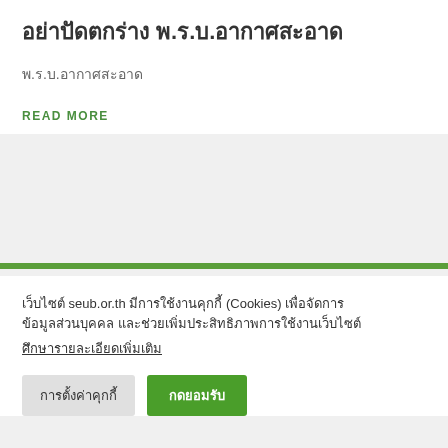อย่าปัดตกร่าง พ.ร.บ.อากาศสะอาด
พ.ร.บ.อากาศสะอาด
READ MORE
เว็บไซต์ seub.or.th มีการใช้งานคุกกี้ (Cookies) เพื่อจัดการข้อมูลส่วนบุคคล และช่วยเพิ่มประสิทธิภาพการใช้งานเว็บไซต์
ศึกษารายละเอียดเพิ่มเติม
การตั้งค่าคุกกี้
กดยอมรับ